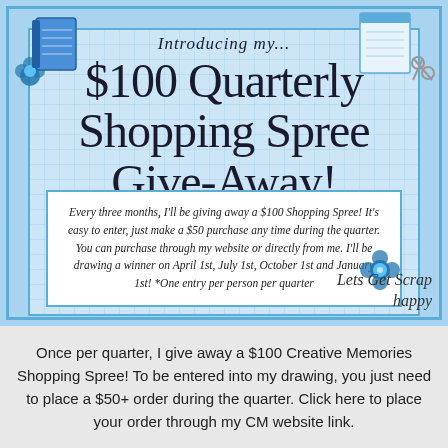[Figure (illustration): Decorative promotional flyer with blue craft/scrapbooking themed border and background. Contains decorative craft items (notebooks, scissors, flowers) around the border. Main content area has a light blue grid-textured background with title text and a white info box. Bottom right has a 'Lets Get Scrap Happy' logo.]
Introducing my... $100 Quarterly Shopping Spree Give-Away!
Every three months, I'll be giving away a $100 Shopping Spree! It's easy to enter, just make a $50 purchase any time during the quarter. You can purchase through my website or directly from me. I'll be drawing a winner on April 1st, July 1st, October 1st and January 1st! *One entry per person per quarter
Once per quarter, I give away a $100 Creative Memories Shopping Spree! To be entered into my drawing, you just need to place a $50+ order during the quarter. Click here to place your order through my CM website link.